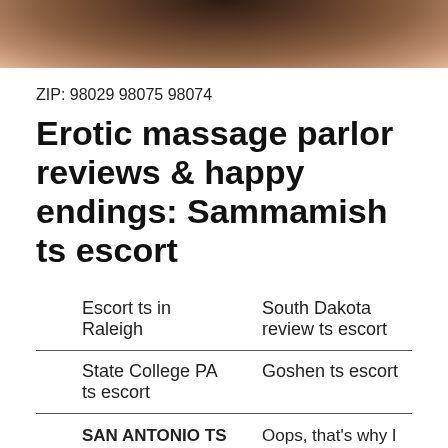[Figure (photo): Dark photograph at top of page, appears to show a dark-haired subject with warm brown tones]
ZIP: 98029 98075 98074
Erotic massage parlor reviews & happy endings: Sammamish ts escort
Escort ts in Raleigh
South Dakota review ts escort
State College PA ts escort
Goshen ts escort
SAN ANTONIO TS ESCORT
Oops, that's why I ask!